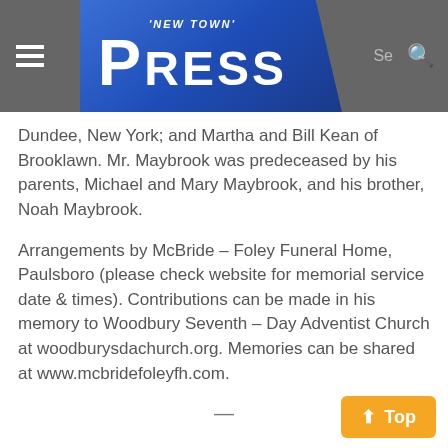'New Town' Press
Dundee, New York; and Martha and Bill Kean of Brooklawn. Mr. Maybrook was predeceased by his parents, Michael and Mary Maybrook, and his brother, Noah Maybrook.
Arrangements by McBride – Foley Funeral Home, Paulsboro (please check website for memorial service date & times). Contributions can be made in his memory to Woodbury Seventh – Day Adventist Church at woodburysdachurch.org. Memories can be shared at www.mcbridefoleyfh.com.